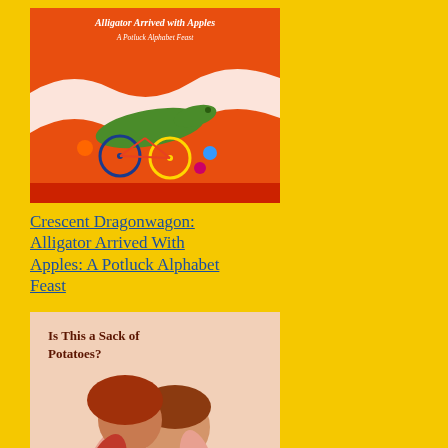[Figure (photo): Book cover: Alligator Arrived with Apples - A Potluck Alphabet Feast by Crescent Dragonwagon, orange cover with illustrated alligator on bicycle]
Crescent Dragonwagon: Alligator Arrived With Apples: A Potluck Alphabet Feast
[Figure (photo): Book cover: Is This a Sack of Potatoes? by Crescent Dragonwagon, illustrated cover showing two children hugging]
Crescent Dragonwagon: Is This a Sack of Potatoes?
Crescent Dragonwagon: Bat in the Dining Room
[Figure (photo): Partial book cover at bottom of left column]
pointless, melodramatic, and jus
So I made the bed each morning the bird-feeders filled. Went on w
What I was working on in 2002, t edits of Passionate Vegetarian, a was still alive and I was still deep
The afternoon I'm writing about, t my new life. Like most days that working on PV edits all day. The completed had just been picked very nice Fed Ex guy, and was o the editor (who, I think, was clue devastated and barely functional with whom she was working. And Fake it till you make it, as the say a new section. But before I got st